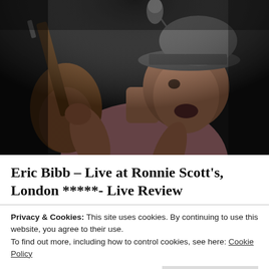[Figure (photo): A musician wearing a hat playing guitar and singing into a microphone on a dark stage, wearing a pink short-sleeve shirt]
Eric Bibb – Live at Ronnie Scott's, London *****- Live Review
Privacy & Cookies: This site uses cookies. By continuing to use this website, you agree to their use.
To find out more, including how to control cookies, see here: Cookie Policy
Close and accept
club. He was accompanied by Staffan Astner on